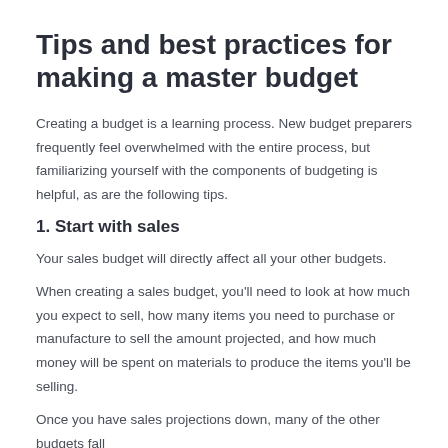Tips and best practices for making a master budget
Creating a budget is a learning process. New budget preparers frequently feel overwhelmed with the entire process, but familiarizing yourself with the components of budgeting is helpful, as are the following tips.
1. Start with sales
Your sales budget will directly affect all your other budgets.
When creating a sales budget, you'll need to look at how much you expect to sell, how many items you need to purchase or manufacture to sell the amount projected, and how much money will be spent on materials to produce the items you'll be selling.
Once you have sales projections down, many of the other budgets fall